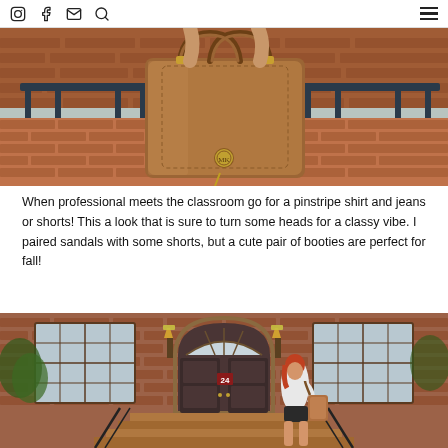Instagram, Facebook, Email, Search icons and hamburger menu
[Figure (photo): Close-up photo of a woman holding a brown leather Michael Kors tote bag on a brick patio with a bench in the background]
When professional meets the classroom go for a pinstripe shirt and jeans or shorts! This a look that is sure to turn some heads for a classy vibe. I paired sandals with some shorts, but a cute pair of booties are perfect for fall!
[Figure (photo): Woman with red hair wearing a white top and black shorts, carrying a brown bag, standing on brick steps in front of a brick building with a dark door numbered 24]